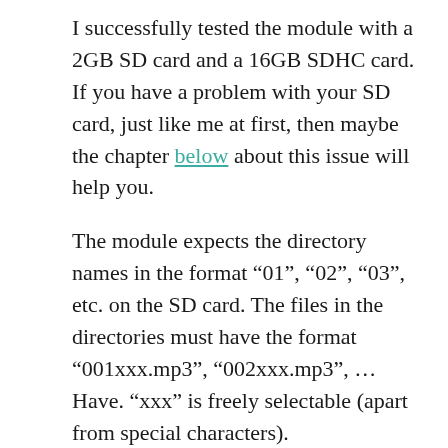I successfully tested the module with a 2GB SD card and a 16GB SDHC card. If you have a problem with your SD card, just like me at first, then maybe the chapter below about this issue will help you.
The module expects the directory names in the format “01”, “02”, “03”, etc. on the SD card. The files in the directories must have the format “001xxx.mp3”, “002xxx.mp3”, … Have. “xxx” is freely selectable (apart from special characters).
The jack connection can be seen as a positive or negative feature. Additional pins for connecting to self-built amplifiers or loudspeakers would have made sense. But first of course it is more convenient to be able to...